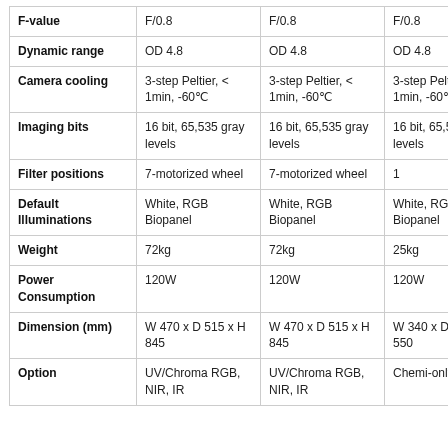| F-value | F/0.8 | F/0.8 | F/0.8 |
| Dynamic range | OD 4.8 | OD 4.8 | OD 4.8 |
| Camera cooling | 3-step Peltier, < 1min, -60°C | 3-step Peltier, < 1min, -60°C | 3-step Peltier, < 1min, -60°C |
| Imaging bits | 16 bit, 65,535 gray levels | 16 bit, 65,535 gray levels | 16 bit, 65,535 gray levels |
| Filter positions | 7-motorized wheel | 7-motorized wheel | 1 |
| Default Illuminations | White, RGB Biopanel | White, RGB Biopanel | White, RGB Biopanel |
| Weight | 72kg | 72kg | 25kg |
| Power Consumption | 120W | 120W | 120W |
| Dimension (mm) | W 470 x D 515 x H 845 | W 470 x D 515 x H 845 | W 340 x D 430 x H 550 |
| Option | UV/Chroma RGB, NIR, IR | UV/Chroma RGB, NIR, IR | Chemi-only |